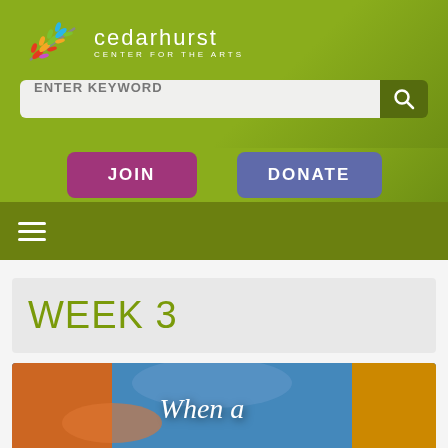[Figure (logo): Cedarhurst Center for the Arts logo with colorful leaf/branch illustration and white text]
ENTER KEYWORD
JOIN
DONATE
[Figure (other): Hamburger menu icon (three horizontal white lines) on dark olive green navigation bar]
WEEK 3
[Figure (illustration): Partial view of book/movie cover with text 'When a' visible on colorful illustrated background]